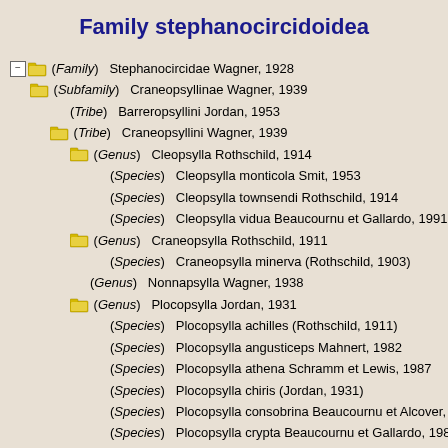Family stephanocircidoidea
(Family) Stephanocircidae Wagner, 1928
(Subfamily) Craneopsyllinae Wagner, 1939
(Tribe) Barreropsyllini Jordan, 1953
(Tribe) Craneopsyllini Wagner, 1939
(Genus) Cleopsylla Rothschild, 1914
(Species) Cleopsylla monticola Smit, 1953
(Species) Cleopsylla townsendi Rothschild, 1914
(Species) Cleopsylla vidua Beaucournu et Gallardo, 1991
(Genus) Craneopsylla Rothschild, 1911
(Species) Craneopsylla minerva (Rothschild, 1903)
(Genus) Nonnapsylla Wagner, 1938
(Genus) Plocopsylla Jordan, 1931
(Species) Plocopsylla achilles (Rothschild, 1911)
(Species) Plocopsylla angusticeps Mahnert, 1982
(Species) Plocopsylla athena Schramm et Lewis, 1987
(Species) Plocopsylla chiris (Jordan, 1931)
(Species) Plocopsylla consobrina Beaucournu et Alcover, 19…
(Species) Plocopsylla crypta Beaucournu et Gallardo, 1989
(Species) Plocopsylla diana Beaucournu, Gallardo et Launa…